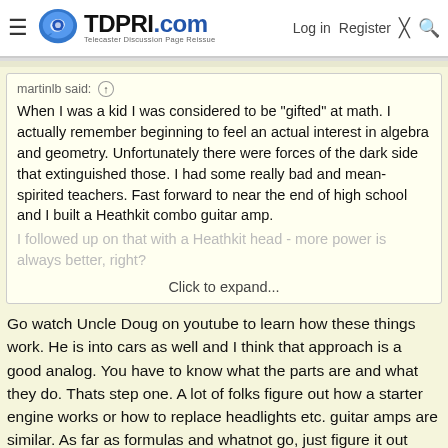TDPRI.com — Telecaster Discussion Page Reissue — Log in | Register
martinlb said: ↑

When I was a kid I was considered to be "gifted" at math. I actually remember beginning to feel an actual interest in algebra and geometry. Unfortunately there were forces of the dark side that extinguished those. I had some really bad and mean-spirited teachers. Fast forward to near the end of high school and I built a Heathkit combo guitar amp. I followed up on that with a Heathkit head - more power is always better, right?

Click to expand...
Go watch Uncle Doug on youtube to learn how these things work. He is into cars as well and I think that approach is a good analog. You have to know what the parts are and what they do. Thats step one. A lot of folks figure out how a starter engine works or how to replace headlights etc. guitar amps are similar. As far as formulas and whatnot go, just figure it out once and put it in excel. Then just put measurements in and youre set. Follow the safety rules.. discharge the caps before digging around in a tube amp. Good luck and chip away at it.